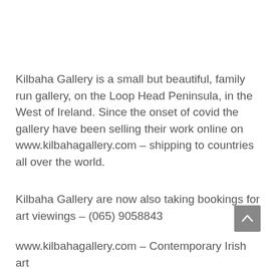Kilbaha Gallery is a small but beautiful, family run gallery, on the Loop Head Peninsula, in the West of Ireland. Since the onset of covid the gallery have been selling their work online on www.kilbahagallery.com – shipping to countries all over the world.
Kilbaha Gallery are now also taking bookings for art viewings – (065) 9058843
www.kilbahagallery.com – Contemporary Irish art